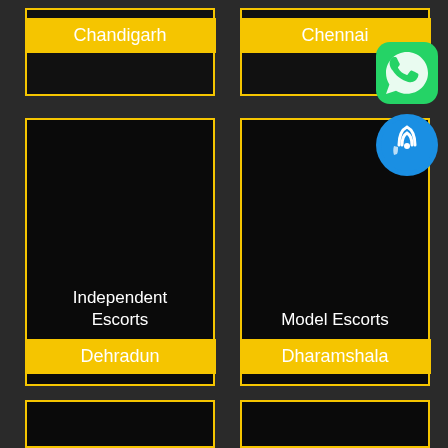Chandigarh
Chennai
Independent Escorts
Dehradun
Model Escorts
Dharamshala